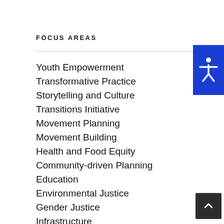FOCUS AREAS
Youth Empowerment
Transformative Practice
Storytelling and Culture
Transitions Initiative
Movement Planning
Movement Building
Health and Food Equity
Community-driven Planning
Education
Environmental Justice
Gender Justice
Infrastructure
Just Transition
Leadership Development